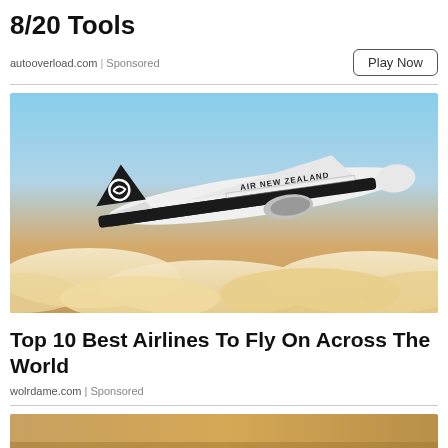8/20 Tools
autooverload.com | Sponsored
[Figure (photo): Air New Zealand aircraft flying above clouds against a warm sky]
Top 10 Best Airlines To Fly On Across The World
wolrdame.com | Sponsored
[Figure (photo): Partial bottom image, cropped]